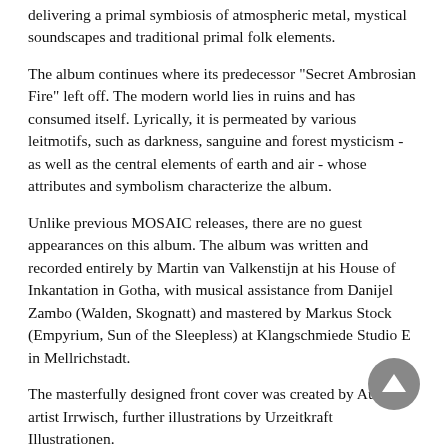delivering a primal symbiosis of atmospheric metal, mystical soundscapes and traditional primal folk elements.
The album continues where its predecessor "Secret Ambrosian Fire" left off. The modern world lies in ruins and has consumed itself. Lyrically, it is permeated by various leitmotifs, such as darkness, sanguine and forest mysticism - as well as the central elements of earth and air - whose attributes and symbolism characterize the album.
Unlike previous MOSAIC releases, there are no guest appearances on this album. The album was written and recorded entirely by Martin van Valkenstijn at his House of Inkantation in Gotha, with musical assistance from Danijel Zambo (Walden, Skognatt) and mastered by Markus Stock (Empyrium, Sun of the Sleepless) at Klangschmiede Studio E in Mellrichstadt.
The masterfully designed front cover was created by Austrian artist Irrwisch, further illustrations by Urzeitkraft Illustrationen.
Tracklist:
01 Wir sind Geister.